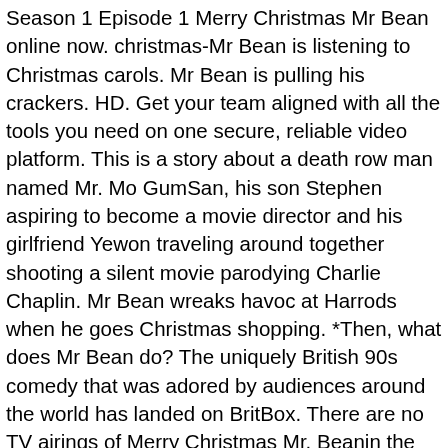Season 1 Episode 1 Merry Christmas Mr Bean online now. christmas-Mr Bean is listening to Christmas carols. Mr Bean is pulling his crackers. HD. Get your team aligned with all the tools you need on one secure, reliable video platform. This is a story about a death row man named Mr. Mo GumSan, his son Stephen aspiring to become a movie director and his girlfriend Yewon traveling around together shooting a silent movie parodying Charlie Chaplin. Mr Bean wreaks havoc at Harrods when he goes Christmas shopping. *Then, what does Mr Bean do? The uniquely British 90s comedy that was adored by audiences around the world has landed on BritBox. There are no TV airings of Merry Christmas Mr. Beanin the next 14 days. merry christmas mr bean 46910 GIFs. The master of disaster goes for a haircut but ends up styling other customers' hair. 1 series available. Europe is watching this in the morning of 1st Christmas Day.Anyway.. MERRY CHRISTMAS to everyone, thank you for being so awesome audience. He's not for everyone, Mr Bean. ... Merry Christmas, Mr Bean. Sort: Relevant Newest # love # kiss # 90s # kissing # kisses # christmas # mr bean # kissing # animation # mrbeantitle#